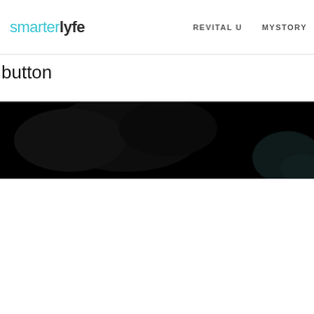smarterlyfe | REVITAL U | MYSTORY
button
[Figure (photo): Dark/black image, very low exposure photograph, barely visible figures against black background, appears to be a nighttime or darkroom scene]